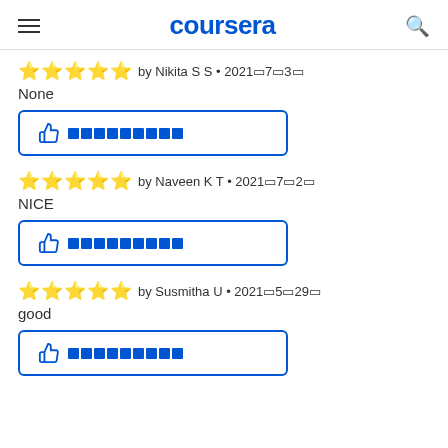coursera
★★★★★ by Nikita S S • 2021年7月3日
None
[Figure (other): Helpful thumbs up button with blue border and redacted text]
★★★★★ by Naveen K T • 2021年7月2日
NICE
[Figure (other): Helpful thumbs up button with blue border and redacted text]
★★★★★ by Susmitha U • 2021年5月29日
good
[Figure (other): Helpful thumbs up button with blue border and redacted text]